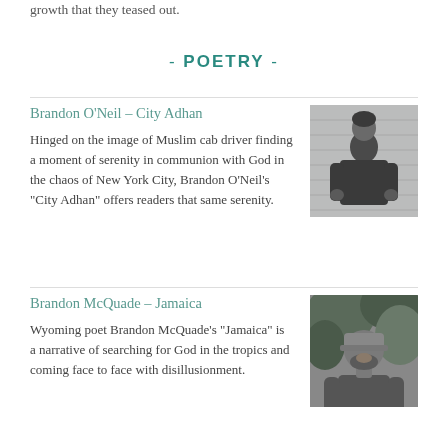growth that they teased out.
- POETRY -
Brandon O'Neil – City Adhan

Hinged on the image of Muslim cab driver finding a moment of serenity in communion with God in the chaos of New York City, Brandon O'Neil's "City Adhan" offers readers that same serenity.
[Figure (photo): Black and white portrait photo of Brandon O'Neil, a young man standing with hands on hips]
Brandon McQuade – Jamaica

Wyoming poet Brandon McQuade's "Jamaica" is a narrative of searching for God in the tropics and coming face to face with disillusionment.
[Figure (photo): Black and white portrait photo of Brandon McQuade, a bearded man wearing a cap, smiling]